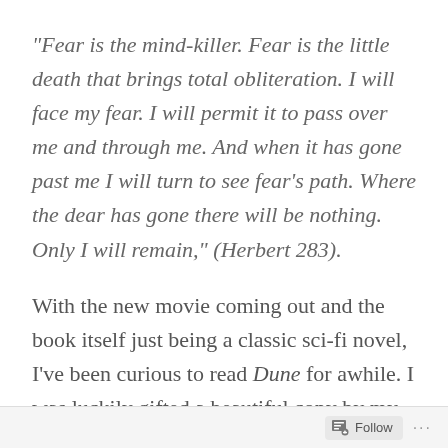“Fear is the mind-killer. Fear is the little death that brings total obliteration. I will face my fear. I will permit it to pass over me and through me. And when it has gone past me I will turn to see fear’s path. Where the dear has gone there will be nothing. Only I will remain,” (Herbert 283).
With the new movie coming out and the book itself just being a classic sci-fi novel, I’ve been curious to read Dune for awhile. I was luckily gifted a beautiful copy by my sister
Follow ...